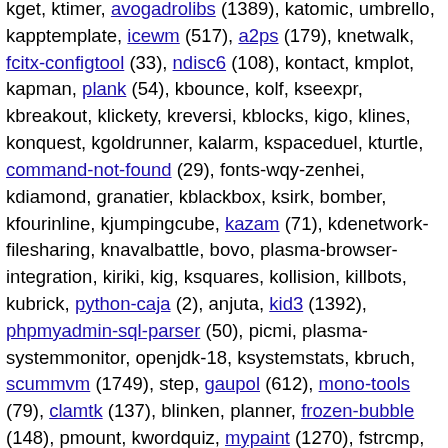kget, ktimer, avogadrolibs (1389), katomic, umbrello, kapptemplate, icewm (517), a2ps (179), knetwalk, fcitx-configtool (33), ndisc6 (108), kontact, kmplot, kapman, plank (54), kbounce, kolf, kseexpr, kbreakout, klickety, kreversi, kblocks, kigo, klines, konquest, kgoldrunner, kalarm, kspaceduel, kturtle, command-not-found (29), fonts-wqy-zenhei, kdiamond, granatier, kblackbox, ksirk, bomber, kfourinline, kjumpingcube, kazam (71), kdenetwork-filesharing, knavalbattle, bovo, plasma-browser-integration, kiriki, kig, ksquares, kollision, killbots, kubrick, python-caja (2), anjuta, kid3 (1392), phpmyadmin-sql-parser (50), picmi, plasma-systemmonitor, openjdk-18, ksystemstats, kbruch, scummvm (1749), step, gaupol (612), mono-tools (79), clamtk (137), blinken, planner, frozen-bubble (148), pmount, kwordquiz, mypaint (1270), fstrcmp, akonadi-calendar-tools, kiten, kanagram, aumix (156), khangman, bleachbit, rocs, gphoto2 (345), dolphin-plugins, ksnakeduel, libkeduvocdocument, sugar-browse-activity (52), gui-ufw (1010), git-buildpackage (1245), indent (52),